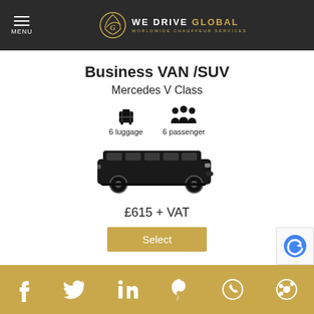MENU | WE DRIVE GLOBAL - WORLDWIDE CHAUFFEUR SERVICES
Business VAN /SUV
Mercedes V Class
6 luggage  6 passenger
[Figure (photo): Black Mercedes V Class van/SUV side view]
£615 + VAT
Select
Social media icons: Facebook, Twitter, LinkedIn, Pinterest, WhatsApp, other